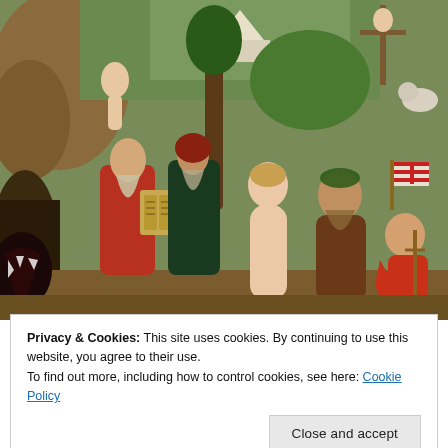[Figure (illustration): A Renaissance religious painting depicting multiple figures including Moses with tablets of law, a nude female figure, a wild man with wreath on head, John the Baptist seated with red cloak, and background scenes with crucifixion and other figures]
Privacy & Cookies: This site uses cookies. By continuing to use this website, you agree to their use.
To find out more, including how to control cookies, see here: Cookie Policy
Close and accept